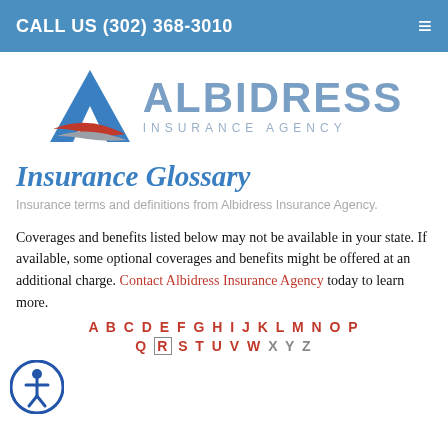CALL US (302) 368-3010
[Figure (logo): Albidress Insurance Agency logo with blue triangle/arrow graphic and company name in blue and gray text]
Insurance Glossary
Insurance terms and definitions from Albidress Insurance Agency.
Coverages and benefits listed below may not be available in your state. If available, some optional coverages and benefits might be offered at an additional charge. Contact Albidress Insurance Agency today to learn more.
A B C D E F G H I J K L M N O P Q R S T U V W X Y Z